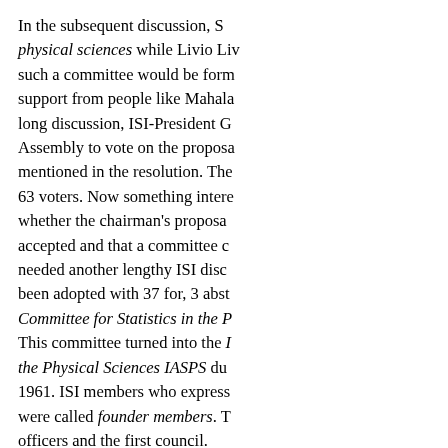In the subsequent discussion, S physical sciences while Livio Liv such a committee would be form support from people like Mahala long discussion, ISI-President G Assembly to vote on the proposa mentioned in the resolution. The 63 voters. Now something intere whether the chairman's proposa accepted and that a committee c needed another lengthy ISI disc been adopted with 37 for, 3 abst Committee for Statistics in the P This committee turned into the I the Physical Sciences IASPS du 1961. ISI members who express were called founder members. T officers and the first council.
Here is the list of the successive
1963-1965: Tosio Kitagawa
1965-1967: Maurice S. Ba
1967-1969: A.N. Kolmogo